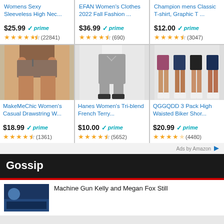Womens Sexy Sleeveless High Nec... $25.99 prime (22841)
EFAN Women's Clothes 2022 Fall Fashion ... $36.99 prime (690)
Champion mens Classic T-shirt, Graphic T ... $12.00 prime (3047)
[Figure (photo): Brown athletic shorts on a model]
MakeMeChic Women's Casual Drawstring W... $18.99 prime (1361)
[Figure (photo): Gray jogger sweatpants on a model]
Hanes Women's Tri-blend French Terry... $10.00 prime (5652)
[Figure (photo): QGGQDD 3 pack biker shorts in burgundy, navy, black]
QGGQDD 3 Pack High Waisted Biker Shor... $20.99 prime (4480)
Ads by Amazon
Gossip
Machine Gun Kelly and Megan Fox Still